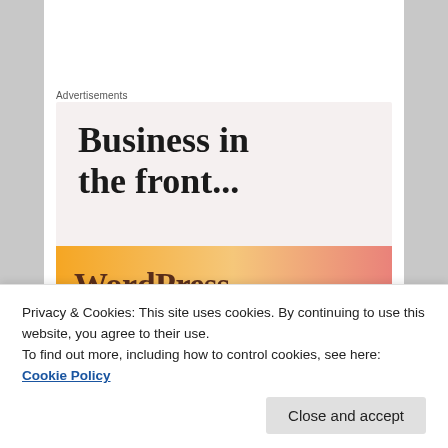Advertisements
[Figure (illustration): WordPress advertisement banner reading 'Business in the front...' in large serif bold text, with a WordPress logo on an orange-to-pink gradient bar at the bottom]
Privacy & Cookies: This site uses cookies. By continuing to use this website, you agree to their use.
To find out more, including how to control cookies, see here: Cookie Policy
Close and accept
whatever food I am given at the family table